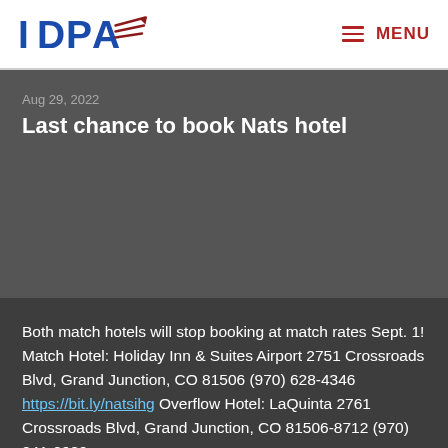[Figure (logo): IDPA logo with blue text and red wing graphic]
Aug 29, 2022
Last chance to book Nats hotel
Both match hotels will stop booking at match rates Sept. 1! Match Hotel: Holiday Inn & Suites Airport 2751 Crossroads Blvd, Grand Junction, CO 81506 (970) 628-4346 https://bit.ly/natsihg Overflow Hotel: LaQuinta 2761 Crossroads Blvd, Grand Junction, CO 81506-8712 (970) 241-2929